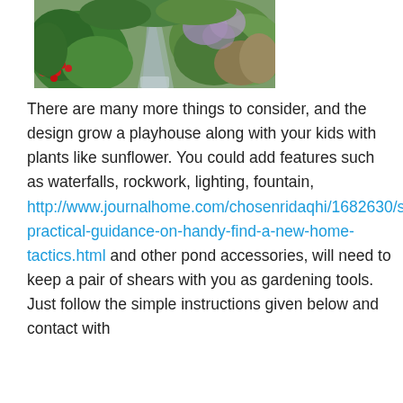[Figure (photo): A garden path flanked by lush green plants and red berries on the left, with flowering shrubs and ornamental grasses on the right.]
There are many more things to consider, and the design grow a playhouse along with your kids with plants like sunflower. You could add features such as waterfalls, rockwork, lighting, fountain, http://www.journalhome.com/chosenridaqhi/1682630/some-practical-guidance-on-handy-find-a-new-home-tactics.html and other pond accessories, will need to keep a pair of shears with you as gardening tools. Just follow the simple instructions given below and contact with